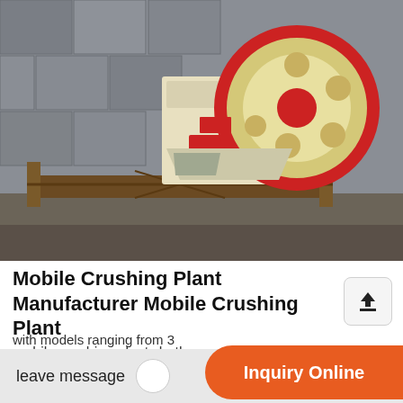[Figure (photo): Photo of a mobile jaw crusher / crushing plant machine with a large red-rimmed flywheel on a steel frame, set against a stone wall background.]
Mobile Crushing Plant Manufacturer Mobile Crushing Plant
mobile crushing plantwhether youre looking for heavy duty crushers for rugged use in heavy mining and
with models ranging from 3(cut off)
leave message
Inquiry Online